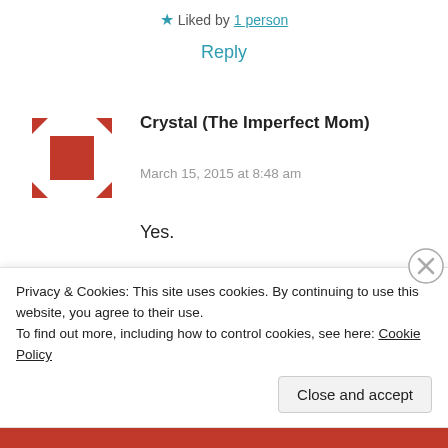★ Liked by 1 person
Reply
[Figure (illustration): User avatar icon: a red square in the center with four red arrow-pointer marks pointing inward from each corner, on white background.]
Crystal (The Imperfect Mom)
March 15, 2015 at 8:48 am
Yes.
★ Like
Privacy & Cookies: This site uses cookies. By continuing to use this website, you agree to their use.
To find out more, including how to control cookies, see here: Cookie Policy
Close and accept